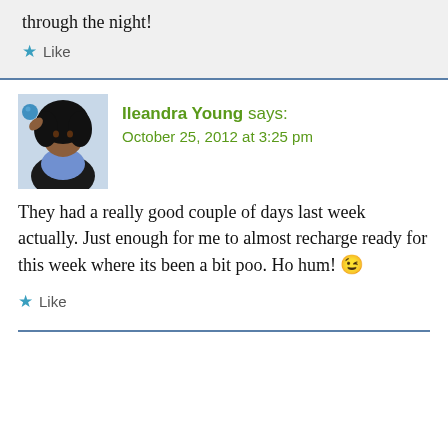through the night!
Like
Ileandra Young says:
October 25, 2012 at 3:25 pm
They had a really good couple of days last week actually. Just enough for me to almost recharge ready for this week where its been a bit poo. Ho hum! 😉
Like